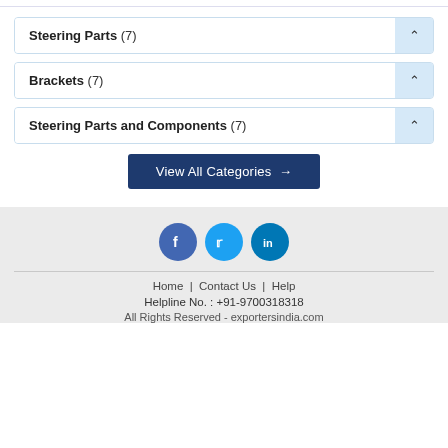Steering Parts (7)
Brackets (7)
Steering Parts and Components (7)
View All Categories →
[Figure (illustration): Social media icons: Facebook, Twitter, LinkedIn]
Home | Contact Us | Help
Helpline No. : +91-9700318318
All Rights Reserved - exportersindia.com